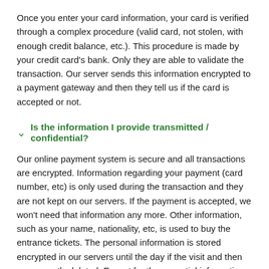Once you enter your card information, your card is verified through a complex procedure (valid card, not stolen, with enough credit balance, etc.). This procedure is made by your credit card's bank. Only they are able to validate the transaction. Our server sends this information encrypted to a payment gateway and then they tell us if the card is accepted or not.
Is the information I provide transmitted / confidential?
Our online payment system is secure and all transactions are encrypted. Information regarding your payment (card number, etc) is only used during the transaction and they are not kept on our servers. If the payment is accepted, we won't need that information any more. Other information, such as your name, nationality, etc, is used to buy the entrance tickets. The personal information is stored encrypted in our servers until the day if the visit and then permanently deleted. Except for the essential information provided to Peruvian authorities, we do not give away or sell this information. You will never receive any advertising, special offer or proposal from us.